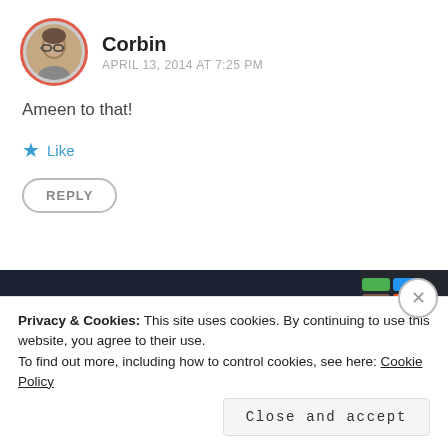[Figure (photo): Avatar photo of Corbin — a person with glasses, circular crop with red/coral border]
Corbin
APRIL 13, 2014 AT 7:25 PM
Ameen to that!
Like
REPLY
[Figure (screenshot): Screenshot of a mobile app ad showing 'on the go.' text and 'Around the World with Pam' content, dark background]
Privacy & Cookies: This site uses cookies. By continuing to use this website, you agree to their use.
To find out more, including how to control cookies, see here: Cookie Policy
Close and accept